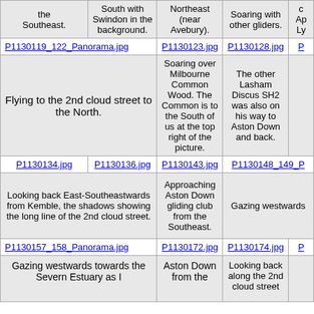| the Southeast. | South with Swindon in the background. | Northeast (near Avebury). | Soaring with other gliders. | Ap Ly |
| P1130119_122_Panorama.jpg | P1130123.jpg | P1130128.jpg | P |
| Flying to the 2nd cloud street to the North. |  | Soaring over Milbourne Common Wood. The Common is to the South of us at the top right of the picture. | The other Lasham Discus SH2 was also on his way to Aston Down and back. |  |
| P1130134.jpg | P1130136.jpg | P1130143.jpg | P1130148_149_P |
| Looking back East-Southeastwards from Kemble, the shadows showing the long line of the 2nd cloud street. |  | Approaching Aston Down gliding club from the Southeast. | Gazing westwards |  |
| P1130157_158_Panorama.jpg |  | P1130172.jpg | P1130174.jpg | P |
| Gazing westwards towards the Severn Estuary as I |  | Aston Down from the | Looking back along the 2nd cloud street |  |